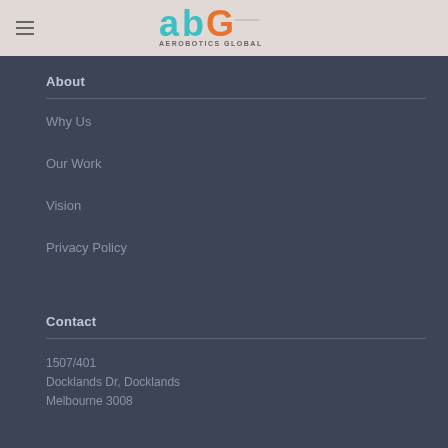[Figure (logo): Aerobotics Global logo with teal 'a', teal 'b', orange 'G' and text 'AEROBOTICS GLOBAL']
About
Why Us
Our Work
Vision
Privacy Policy
Contact
1507/401
Docklands Dr, Docklands
Melbourne 3008